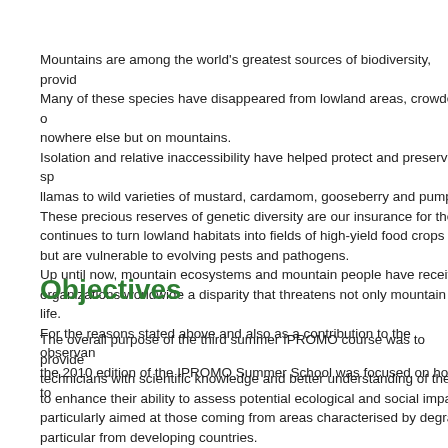Mountains are among the world's greatest sources of biodiversity, provid... Many of these species have disappeared from lowland areas, crowded out, nowhere else but on mountains. Isolation and relative inaccessibility have helped protect and preserve sp... llamas to wild varieties of mustard, cardamom, gooseberry and pumpkin... These precious reserves of genetic diversity are our insurance for the fu... continues to turn lowland habitats into fields of high-yield food crops mo... but are vulnerable to evolving pests and pathogens. Up until now, mountain ecosystems and mountain people have received... organizations worldwide a disparity that threatens not only mountain life... For the reasons stated above and also as a contribution to the observan... the 2010 edition of the IPROMO Summer School was focused on how to...
Objectives
The overall purpose of the third summer IPROMO course was to provide technicians with scientific knowledge and better understanding of the im... to enhance their ability to assess potential ecological and social impacts particularly aimed at those coming from areas characterised by degrade... particular from developing countries. The course focused on the significance of mountain biodiversity, land us... biodiversity, large scale patterns (latitudinal and altitudinal) of mountain b...